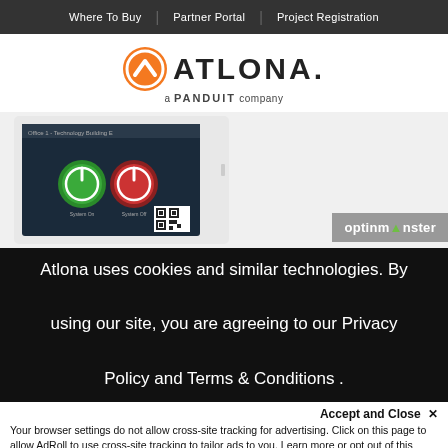Where To Buy | Partner Portal | Project Registration
[Figure (logo): Atlona logo with orange chevron icon and 'ATLONA. a PANDUIT company' text]
[Figure (screenshot): Screenshot of Atlona software UI showing two power buttons (green and red) on a dark background with a QR code]
[Figure (logo): OptinMonster badge/logo in gray background]
Atlona uses cookies and similar technologies. By using our site, you are agreeing to our Privacy Policy and Terms & Conditions .
Accept and Close ✕
Your browser settings do not allow cross-site tracking for advertising. Click on this page to allow AdRoll to use cross-site tracking to tailor ads to you. Learn more or opt out of this AdRoll tracking by clicking here. This message only appears once.